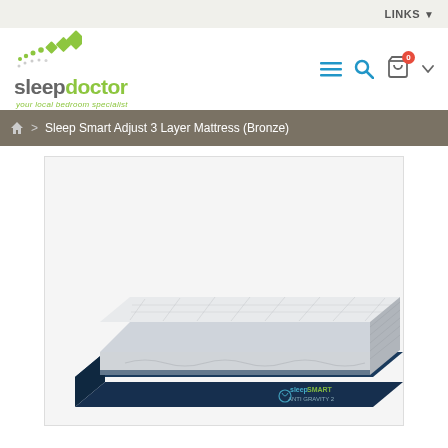LINKS
[Figure (logo): Sleep Doctor logo with diamond shapes and tagline 'your local bedroom specialist']
breadcrumb navigation with home icon, Sleep Smart Adjust 3 Layer Mattress (Bronze)
[Figure (photo): Sleep Smart Anti-Gravity 2 mattress product photo showing a white and navy blue foam mattress with quilted top cover, angled perspective view]